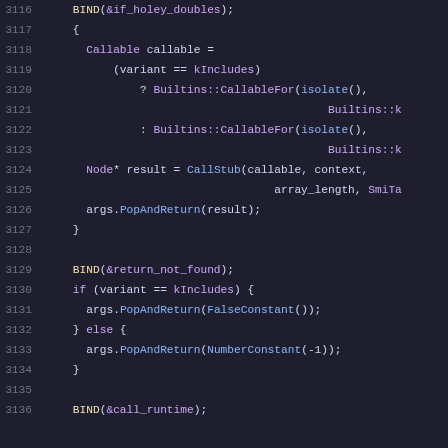[Figure (screenshot): Source code screenshot showing C++ code lines 3116–3136 with syntax highlighting. Dark background with colored tokens: line numbers in gray, keywords and identifiers in various colors.]